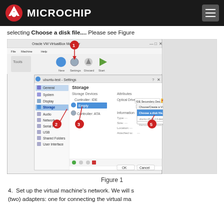Microchip
selecting Choose a disk file.... Please see Figure
[Figure (screenshot): Oracle VM VirtualBox Manager screenshot showing Storage settings with numbered callouts (1-5). The dialog shows ubuntu-test Settings with Storage section open, Controller IDE with Empty selected, Optical Drive dropdown, and a context menu with Choose a disk file... option highlighted.]
Figure 1
4. Set up the virtual machine's network. We will s (two) adapters: one for connecting the virtual ma